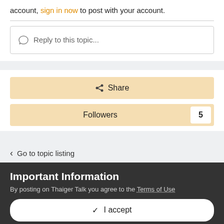account, sign in now to post with your account.
Reply to this topic...
Share
Followers 5
Go to topic listing
Important Information
By posting on Thaiger Talk you agree to the Terms of Use
I accept